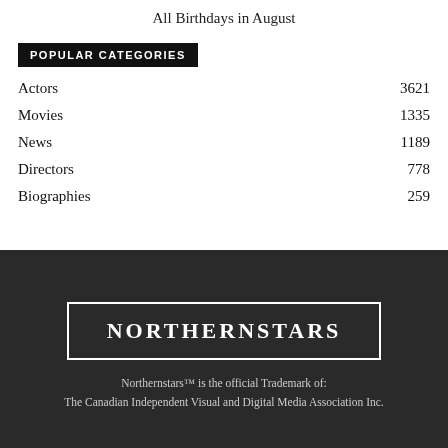All Birthdays in August
POPULAR CATEGORIES
Actors 3621
Movies 1335
News 1189
Directors 778
Biographies 259
[Figure (logo): NORTHERNSTARS logo in white text inside a white-bordered rectangle on dark background]
Northernstars™ is the official Trademark of: The Canadian Independent Visual and Digital Media Association Inc.